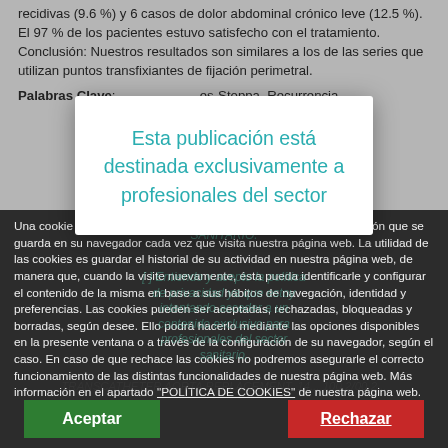recidivas (9.6 %) y 6 casos de dolor abdominal crónico leve (12.5 %). El 97 % de los pacientes estuvo satisfecho con el tratamiento. Conclusión: Nuestros resultados son similares a los de las series que utilizan puntos transfixiantes de fijación perimetral.
Palabras Clave: ... es-Stoppa. Recurrencia ...
[Figure (screenshot): Modal dialog with teal text reading 'Esta publicación está destinada exclusivamente a profesionales del sector' on a white background, overlaid on a greyed-out medical article page]
Una cookie o galleta informática es un pequeño archivo de información que se guarda en su navegador cada vez que visita nuestra página web. La utilidad de las cookies es guardar el historial de su actividad en nuestra página web, de manera que, cuando la visite nuevamente, ésta pueda identificarle y configurar el contenido de la misma en base a sus hábitos de navegación, identidad y preferencias. Las cookies pueden ser aceptadas, rechazadas, bloqueadas y borradas, según desee. Ello podrá hacerlo mediante las opciones disponibles en la presente ventana o a través de la configuración de su navegador, según el caso. En caso de que rechace las cookies no podremos asegurarle el correcto funcionamiento de las distintas funcionalidades de nuestra página web. Más información en el apartado "POLÍTICA DE COOKIES" de nuestra página web.
Aceptar
Rechazar